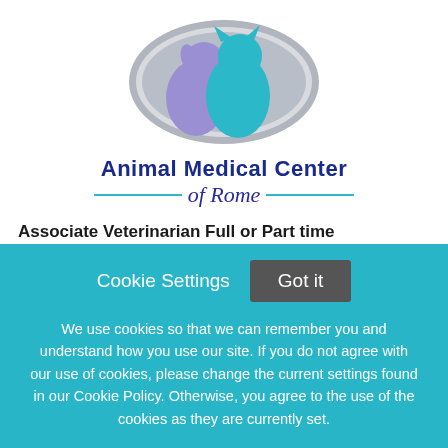[Figure (logo): Animal Medical Center of Rome logo: oval with purple dog silhouette and teal cat silhouette, gray oval background, with teal and dark blue text below]
Animal Medical Center of Rome
Associate Veterinarian Full or Part time Considered
Animal Medical Center of Rome
Cookie Settings   Got it
We use cookies so that we can remember you and understand how you use our site. If you do not agree with our use of cookies, please change the current settings found in our Cookie Policy. Otherwise, you agree to the use of the cookies as they are currently set.